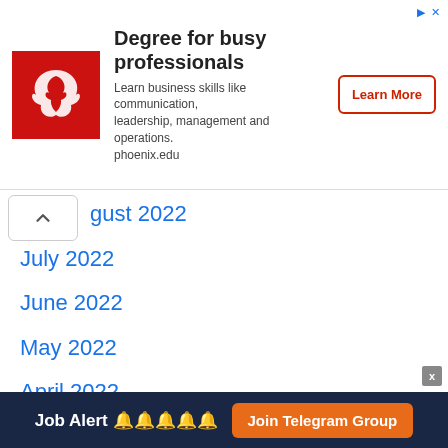[Figure (illustration): Advertisement banner for University of Phoenix: red logo with white bird icon, bold title 'Degree for busy professionals', body text 'Learn business skills like communication, leadership, management and operations. phoenix.edu', and a 'Learn More' button outlined in red.]
gust 2022
July 2022
June 2022
May 2022
April 2022
March 2022
February 2022
January 2022
December 2021
November 2021
Job Alert 🔔🔔🔔🔔🔔  Join Telegram Group